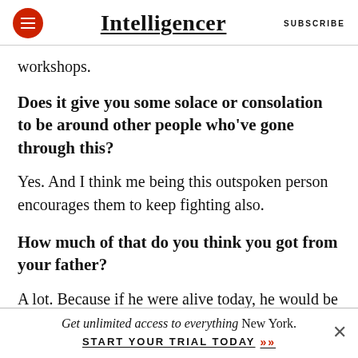Intelligencer | SUBSCRIBE
workshops.
Does it give you some solace or consolation to be around other people who’ve gone through this?
Yes. And I think me being this outspoken person encourages them to keep fighting also.
How much of that do you think you got from your father?
A lot. Because if he were alive today, he would be
Get unlimited access to everything New York. START YOUR TRIAL TODAY